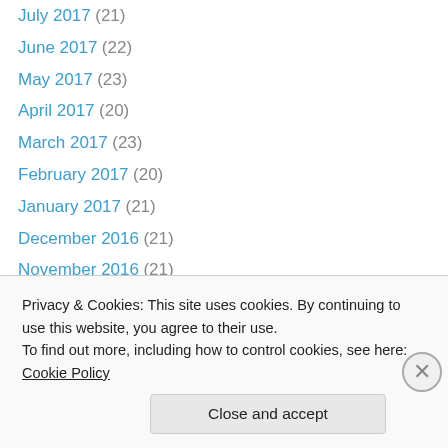July 2017 (21)
June 2017 (22)
May 2017 (23)
April 2017 (20)
March 2017 (23)
February 2017 (20)
January 2017 (21)
December 2016 (21)
November 2016 (21)
October 2016 (21)
September 2016 (21)
August 2016 (23)
July 2016 (18)
June 2016 (18)
Privacy & Cookies: This site uses cookies. By continuing to use this website, you agree to their use. To find out more, including how to control cookies, see here: Cookie Policy
Close and accept